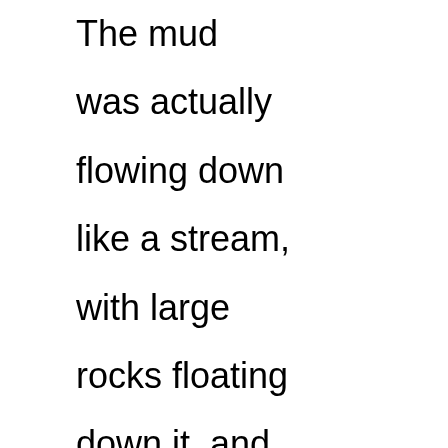The mud was actually flowing down like a stream, with large rocks floating down it, and it was nearly bottomless – I couldn't feel the bottom with my trekking pole.  Bob was in full on geologist